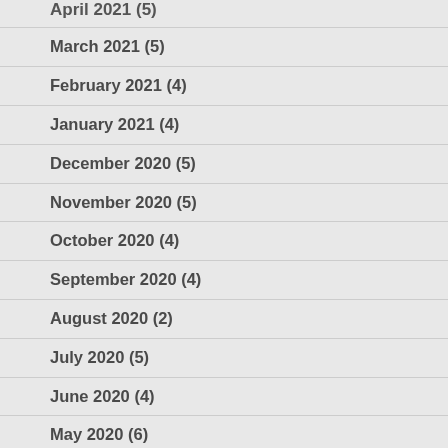April 2021 (5)
March 2021 (5)
February 2021 (4)
January 2021 (4)
December 2020 (5)
November 2020 (5)
October 2020 (4)
September 2020 (4)
August 2020 (2)
July 2020 (5)
June 2020 (4)
May 2020 (6)